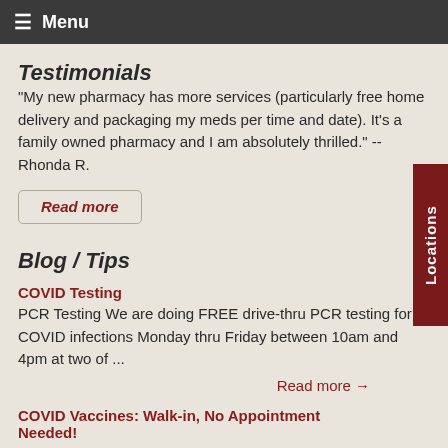Menu
Testimonials
"My new pharmacy has more services (particularly free home delivery and packaging my meds per time and date). It's a family owned pharmacy and I am absolutely thrilled." -- Rhonda R.
Read more
Blog / Tips
COVID Testing
PCR Testing We are doing FREE drive-thru PCR testing for COVID infections Monday thru Friday between 10am and 4pm at two of ...
Read more →
COVID Vaccines: Walk-in, No Appointment Needed!